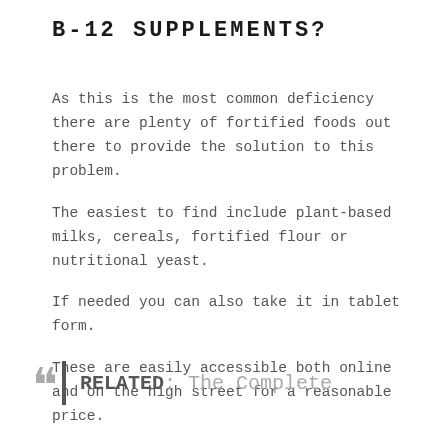B-12 SUPPLEMENTS?
As this is the most common deficiency there are plenty of fortified foods out there to provide the solution to this problem.
The easiest to find include plant-based milks, cereals, fortified flour or nutritional yeast.
If needed you can also take it in tablet form.
These are easily accessible both online and on the high street for a reasonable price.
RELATED: The Complete